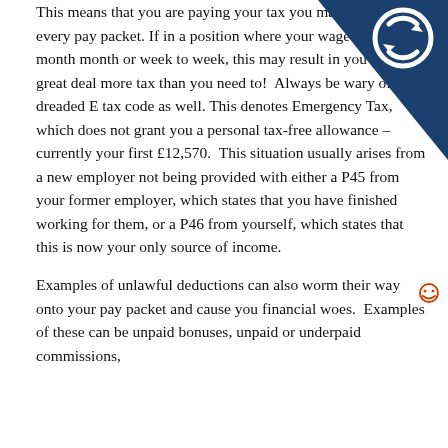[Figure (logo): Dark navy blue triangle/corner decoration in top-right with a circular arrow icon (recycling/refresh symbol) in white]
This means that you are paying your tax you make that amount every pay packet. If in a position where your wage fluctuates month month or week to week, this may result in you paying a great deal more tax than you need to!  Always be wary of the dreaded E tax code as well. This denotes Emergency Tax, which does not grant you a personal tax-free allowance – currently your first £12,570.  This situation usually arises from a new employer not being provided with either a P45 from your former employer, which states that you have finished working for them, or a P46 from yourself, which states that this is now your only source of income.
[Figure (illustration): Small smiley face icon on the right side]
Examples of unlawful deductions can also worm their way onto your pay packet and cause you financial woes.  Examples of these can be unpaid bonuses, unpaid or underpaid commissions,